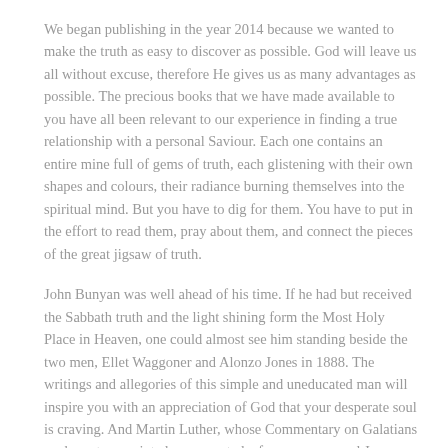We began publishing in the year 2014 because we wanted to make the truth as easy to discover as possible. God will leave us all without excuse, therefore He gives us as many advantages as possible. The precious books that we have made available to you have all been relevant to our experience in finding a true relationship with a personal Saviour. Each one contains an entire mine full of gems of truth, each glistening with their own shapes and colours, their radiance burning themselves into the spiritual mind. But you have to dig for them. You have to put in the effort to read them, pray about them, and connect the pieces of the great jigsaw of truth.
John Bunyan was well ahead of his time. If he had but received the Sabbath truth and the light shining form the Most Holy Place in Heaven, one could almost see him standing beside the two men, Ellet Waggoner and Alonzo Jones in 1888. The writings and allegories of this simple and uneducated man will inspire you with an appreciation of God that your desperate soul is craving. And Martin Luther, whose Commentary on Galatians we hope to re-print also, presented a far more personal Jesus than the theologians and critics will admit.